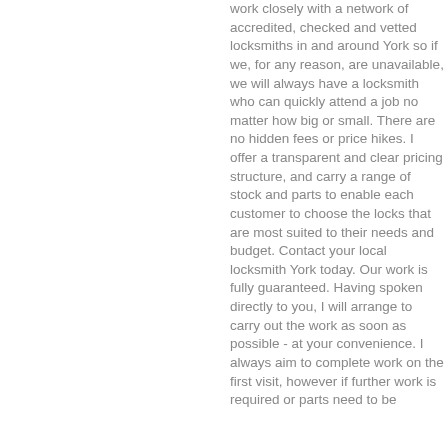work closely with a network of accredited, checked and vetted locksmiths in and around York so if we, for any reason, are unavailable, we will always have a locksmith who can quickly attend a job no matter how big or small. There are no hidden fees or price hikes. I offer a transparent and clear pricing structure, and carry a range of stock and parts to enable each customer to choose the locks that are most suited to their needs and budget. Contact your local locksmith York today. Our work is fully guaranteed. Having spoken directly to you, I will arrange to carry out the work as soon as possible - at your convenience. I always aim to complete work on the first visit, however if further work is required or parts need to be